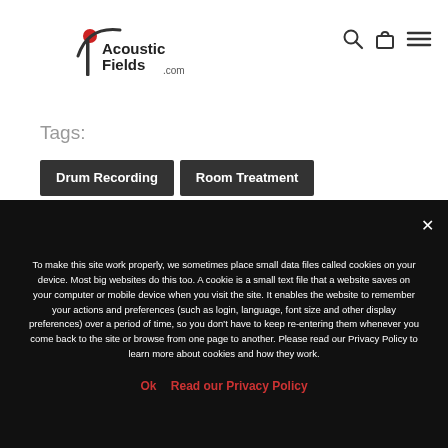[Figure (logo): Acoustic Fields .com logo with red dot and arc mark]
Tags:
Drum Recording
Room Treatment
Studio Room Size
To make this site work properly, we sometimes place small data files called cookies on your device. Most big websites do this too. A cookie is a small text file that a website saves on your computer or mobile device when you visit the site. It enables the website to remember your actions and preferences (such as login, language, font size and other display preferences) over a period of time, so you don't have to keep re-entering them whenever you come back to the site or browse from one page to another. Please read our Privacy Policy to learn more about cookies and how they work.
Ok   Read our Privacy Policy